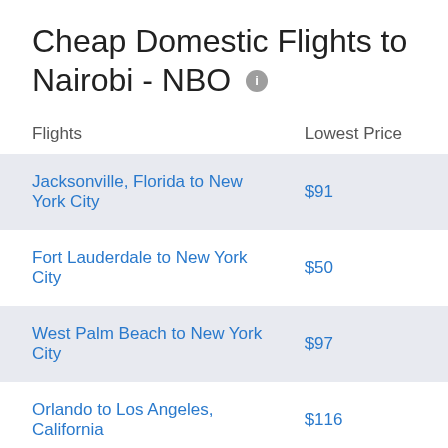Cheap Domestic Flights to Nairobi - NBO
| Flights | Lowest Price |
| --- | --- |
| Jacksonville, Florida to New York City | $91 |
| Fort Lauderdale to New York City | $50 |
| West Palm Beach to New York City | $97 |
| Orlando to Los Angeles, California | $116 |
| Fort Myers to New York City | $2737 |